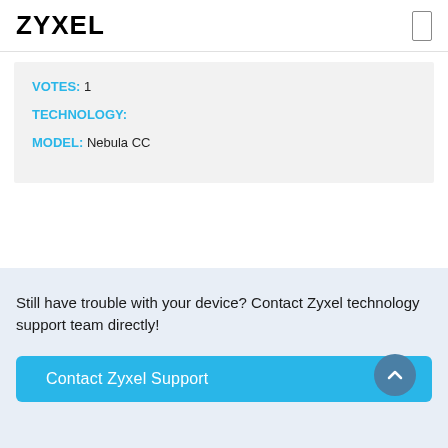ZYXEL
VOTES: 1
TECHNOLOGY:
MODEL: Nebula CC
Still have trouble with your device? Contact Zyxel technology support team directly!
Contact Zyxel Support ▶